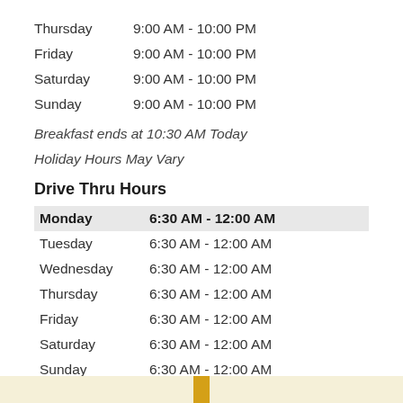| Day | Hours |
| --- | --- |
| Thursday | 9:00 AM - 10:00 PM |
| Friday | 9:00 AM - 10:00 PM |
| Saturday | 9:00 AM - 10:00 PM |
| Sunday | 9:00 AM - 10:00 PM |
Breakfast ends at 10:30 AM Today
Holiday Hours May Vary
Drive Thru Hours
| Day | Hours |
| --- | --- |
| Monday | 6:30 AM - 12:00 AM |
| Tuesday | 6:30 AM - 12:00 AM |
| Wednesday | 6:30 AM - 12:00 AM |
| Thursday | 6:30 AM - 12:00 AM |
| Friday | 6:30 AM - 12:00 AM |
| Saturday | 6:30 AM - 12:00 AM |
| Sunday | 6:30 AM - 12:00 AM |